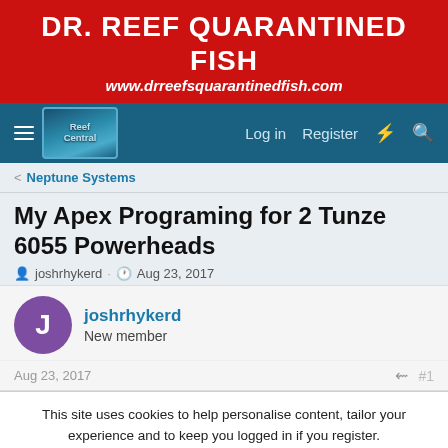[Figure (illustration): DR. REEF QUARANTINED FISH banner advertisement with red background. Text: DR. REEF QUARANTINED FISH / www.drreefsquarantinedfish.com]
Nav bar with hamburger menu, Reef Central logo, Log in, Register links and icons
< Neptune Systems
My Apex Programing for 2 Tunze 6055 Powerheads
joshrhykerd · Aug 23, 2017
joshrhykerd
New member
Aug 23, 2017
This site uses cookies to help personalise content, tailor your experience and to keep you logged in if you register.
By continuing to use this site, you are consenting to our use of cookies.
✓ Accept    Learn more...